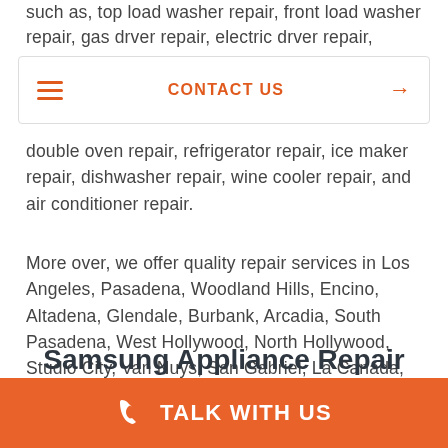such as, top load washer repair, front load washer repair, gas drver repair, electric drver repair, combo
[Figure (screenshot): Navigation bar with hamburger menu icon on left, 'CONTACT US' text in orange in center, and orange arrow on right]
double oven repair, refrigerator repair, ice maker repair, dishwasher repair, wine cooler repair, and air conditioner repair.
More over, we offer quality repair services in Los Angeles, Pasadena, Woodland Hills, Encino, Altadena, Glendale, Burbank, Arcadia, South Pasadena, West Hollywood, North Hollywood, Studio City, Van Nuys, San Gabriel, La Canada, La Crasenta.
Samsung Appliance Repair Service
TALK WITH US